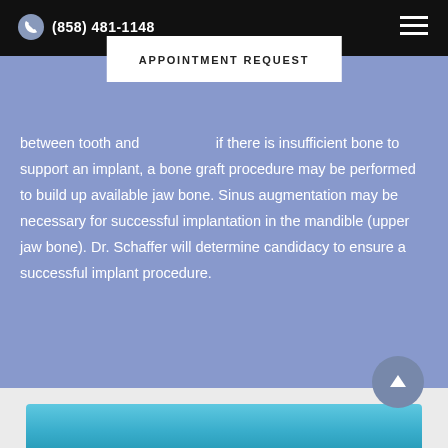(858) 481-1148
APPOINTMENT REQUEST
between tooth and... if there is insufficient bone to support an implant, a bone graft procedure may be performed to build up available jaw bone. Sinus augmentation may be necessary for successful implantation in the mandible (upper jaw bone). Dr. Schaffer will determine candidacy to ensure a successful implant procedure.
[Figure (photo): Photo of dental implant model on blue background, partially visible at bottom of page]